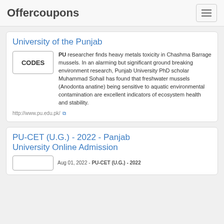Offercoupons
University of the Punjab
PU researcher finds heavy metals toxicity in Chashma Barrage mussels. In an alarming but significant ground breaking environment research, Punjab University PhD scholar Muhammad Sohail has found that freshwater mussels (Anodonta anatine) being sensitive to aquatic environmental contamination are excellent indicators of ecosystem health and stability.
http://www.pu.edu.pk/
PU-CET (U.G.) - 2022 - Panjab University Online Admission
Aug 01, 2022 - PU-CET (U.G.) - 2022